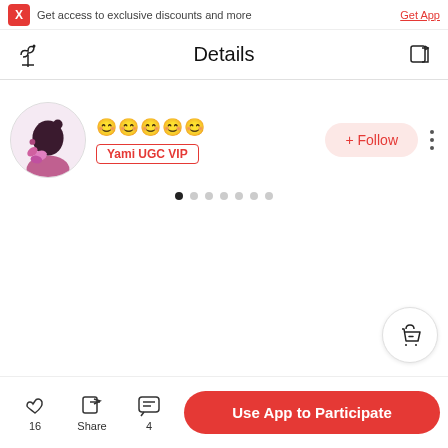Get access to exclusive discounts and more  Get App
Details
[Figure (illustration): User profile avatar: silhouette of a woman with floral decorations, purple/pink tones]
😊😊😊😊😊
Yami UGC VIP
+ Follow
16  Share  4  Use App to Participate